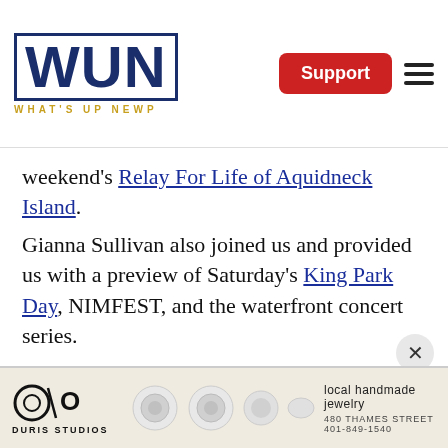WUN - WHAT'S UP NEWP
weekend's Relay For Life of Aquidneck Island.
Gianna Sullivan also joined us and provided us with a preview of Saturday's King Park Day, NIMFEST, and the waterfront concert series.
[Figure (other): Duris Studios advertisement banner showing logo, jewelry images, 'local handmade jewelry', '480 THAMES STREET 401-849-1540']